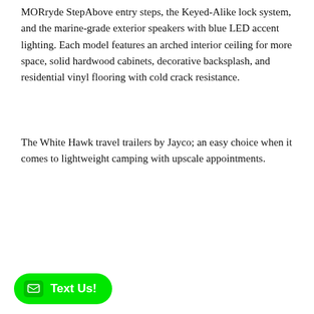MORryde StepAbove entry steps, the Keyed-Alike lock system, and the marine-grade exterior speakers with blue LED accent lighting. Each model features an arched interior ceiling for more space, solid hardwood cabinets, decorative backsplash, and residential vinyl flooring with cold crack resistance.
The White Hawk travel trailers by Jayco; an easy choice when it comes to lightweight camping with upscale appointments.
Showing 1 – 9 of 9
♥ (0)   Filter »
AILER
Text Us!